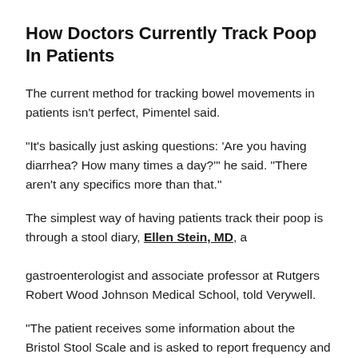How Doctors Currently Track Poop In Patients
The current method for tracking bowel movements in patients isn't perfect, Pimentel said.
“It’s basically just asking questions: ‘Are you having diarrhea? How many times a day?’” he said. “There aren’t any specifics more than that.”
The simplest way of having patients track their poop is through a stool diary, Ellen Stein, MD, a gastroenterologist and associate professor at Rutgers Robert Wood Johnson Medical School, told Verywell.
“The patient receives some information about the Bristol Stool Scale and is asked to report frequency and